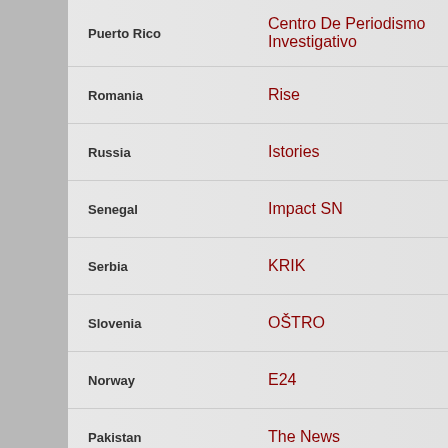| Country | Organization |
| --- | --- |
| Puerto Rico | Centro De Periodismo Investigativo |
| Romania | Rise |
| Russia | Istories |
| Senegal | Impact SN |
| Serbia | KRIK |
| Slovenia | OŠTRO |
| Norway | E24 |
| Pakistan | The News |
| South Africa | AmaBhungane |
| South Africa | Carte Blanche |